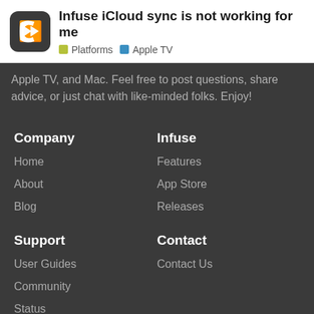Infuse iCloud sync is not working for me
Platforms  Apple TV
Apple TV, and Mac. Feel free to post questions, share advice, or just chat with like-minded folks. Enjoy!
Company
Home
About
Blog
Infuse
Features
App Store
Releases
Support
User Guides
Community
Status
Contact
Contact Us